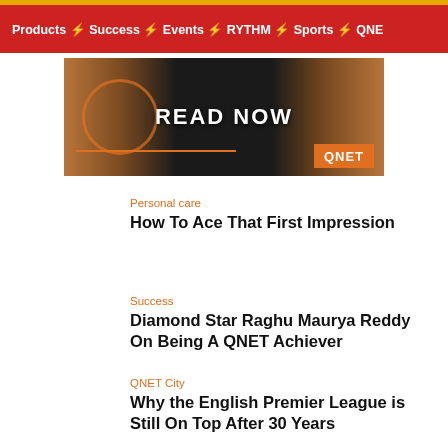Products ⚡ Success ⚡ Events ⚡ RYTHM ⚡ Sports ⚡ QNE
[Figure (photo): Dark background banner image with arms/hands visible, bold white text 'READ NOW' and orange QNET logo badge in bottom right]
Personal care
How To Ace That First Impression
Success
Diamond Star Raghu Maurya Reddy On Being A QNET Achiever
QNET City
Why the English Premier League is Still On Top After 30 Years